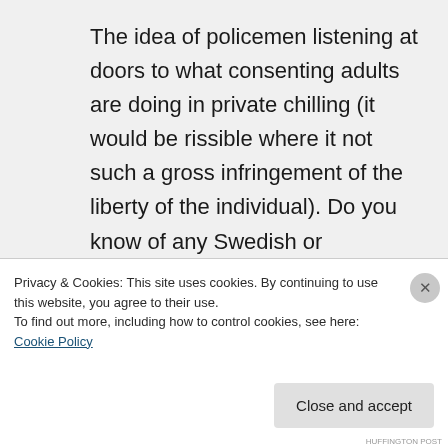The idea of policemen listening at doors to what consenting adults are doing in private chilling (it would be rissible where it not such a gross infringement of the liberty of the individual). Do you know of any Swedish or Norwegian police who have expressed doubts regarding
Privacy & Cookies: This site uses cookies. By continuing to use this website, you agree to their use.
To find out more, including how to control cookies, see here: Cookie Policy
Close and accept